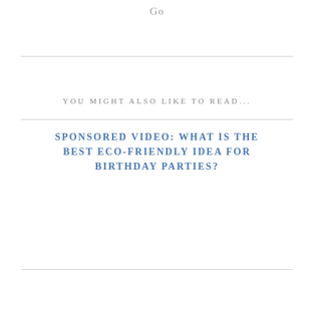Go
YOU MIGHT ALSO LIKE TO READ...
SPONSORED VIDEO: WHAT IS THE BEST ECO-FRIENDLY IDEA FOR BIRTHDAY PARTIES?